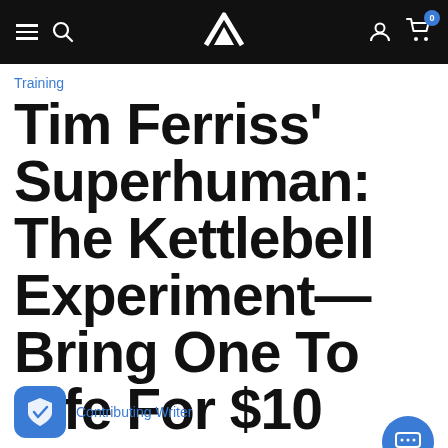Bodybuilding.com navigation bar with menu, search, logo, account, and cart icons
Training
Tim Ferriss' Superhuman: The Kettlebell Experiment—Bring One To Life For $10
Contributing Writer